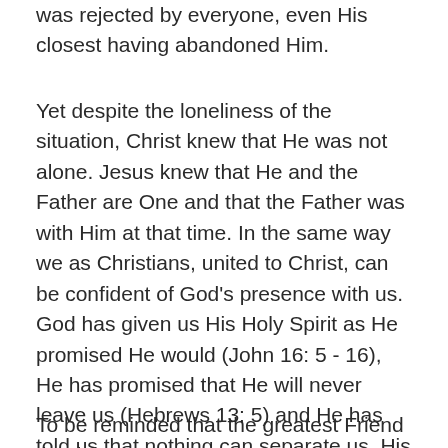was rejected by everyone, even His closest having abandoned Him.
Yet despite the loneliness of the situation, Christ knew that He was not alone. Jesus knew that He and the Father are One and that the Father was with Him at that time. In the same way we as Christians, united to Christ, can be confident of God's presence with us. God has given us His Holy Spirit as He promised He would (John 16: 5 - 16), He has promised that He will never leave us (Hebrews 13: 5) and He has told us that nothing can separate us, His children, from His love (Romans 8: 35 - 39).
To be reminded that the greatest Friend that it is